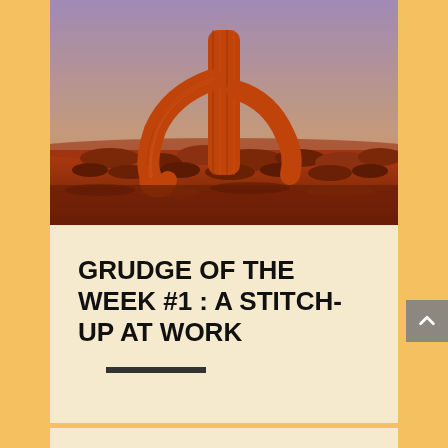[Figure (photo): Desert landscape at sunset showing a large saguaro cactus in the foreground with red-orange tones, scrubby desert vegetation in the background, and a purple-pink sky.]
GRUDGE OF THE WEEK #1 : A STITCH-UP AT WORK